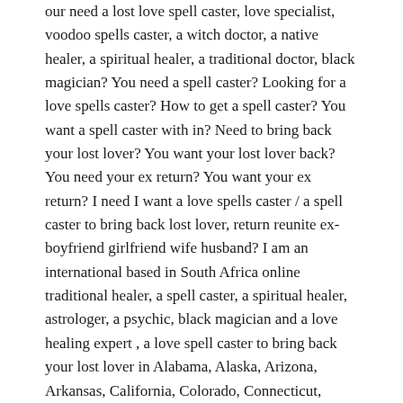our need a lost love spell caster, love specialist, voodoo spells caster, a witch doctor, a native healer, a spiritual healer, a traditional doctor, black magician? You need a spell caster? Looking for a love spells caster? How to get a spell caster? You want a spell caster with in? Need to bring back your lost lover? You want your lost lover back? You need your ex return? You want your ex return? I need I want a love spells caster / a spell caster to bring back lost lover, return reunite ex-boyfriend girlfriend wife husband? I am an international based in South Africa online traditional healer, a spell caster, a spiritual healer, astrologer, a psychic, black magician and a love healing expert , a love spell caster to bring back your lost lover in Alabama, Alaska, Arizona, Arkansas, California, Colorado, Connecticut, Delaware, Columbia, Florida, Georgia, Hawaii, Idaho, Illinois, Indiana, Iowa, Kansas, Kentucky, Louisiana, Maine, Maryland, Massachusetts, Michigan, Minnesota, Mississippi, Missouri, Montana, Nebraska, Nevada, New Hampshire, New Jersey, New Mexico, New York, North Carolina, North Dakota, Ohio, Oklahoma, Oregon,